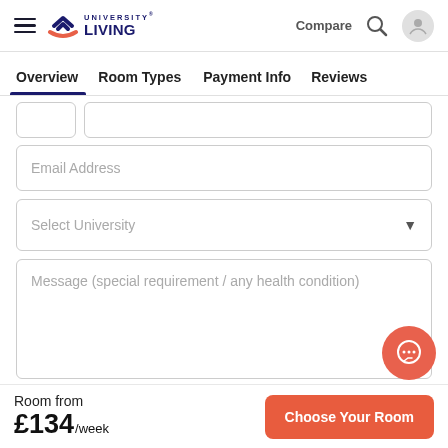University Living — Compare, Search, User icon
Overview   Room Types   Payment Info   Reviews
Email Address
Select University
Message (special requirement / any health condition)
Room from £134/week
Choose Your Room